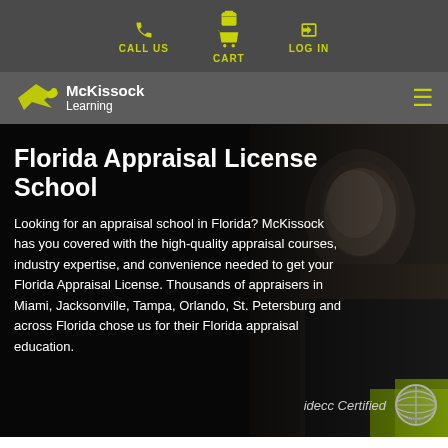CALL US | CART | LOG IN
[Figure (logo): McKissock Learning logo with hummingbird icon]
Florida Appraisal License School
Looking for an appraisal school in Florida? McKissock has you covered with the high-quality appraisal courses, industry expertise, and convenience needed to get your Florida Appraisal License. Thousands of appraisers in Miami, Jacksonville, Tampa, Orlando, St. Petersburg and across Florida chose us for their Florida appraisal education.
[Figure (logo): idecc Certified logo with globe icon]